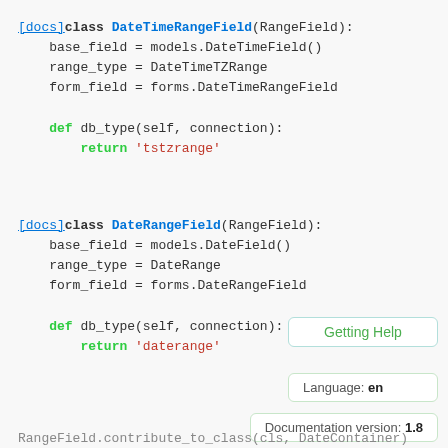[docs]class DateTimeRangeField(RangeField):
    base_field = models.DateTimeField()
    range_type = DateTimeTZRange
    form_field = forms.DateTimeRangeField

    def db_type(self, connection):
        return 'tstzrange'
[docs]class DateRangeField(RangeField):
    base_field = models.DateField()
    range_type = DateRange
    form_field = forms.DateRangeField

    def db_type(self, connection):
        return 'daterange'
Getting Help
Language: en
Documentation version: 1.8
RangeField.contribute_to_class(cls, DateContainer)